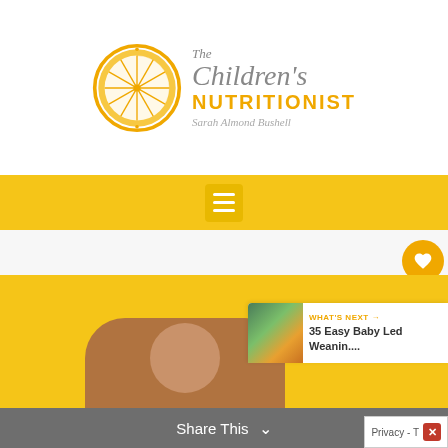[Figure (logo): The Children's Nutritionist logo — orange slice circle with serif italic brand name and subtitle 'Sarah Almond Bushell']
[Figure (screenshot): Yellow navigation bar with hamburger menu icon]
[Figure (screenshot): Light grey content/ad area with heart like button showing count 1 and share button on right side]
[Figure (photo): Yellow hero background with baby photo at bottom and 'What's Next' widget showing '35 Easy Baby Led Weanin...' article]
[Figure (screenshot): Share This bar at bottom of page with Privacy - T button and close X]